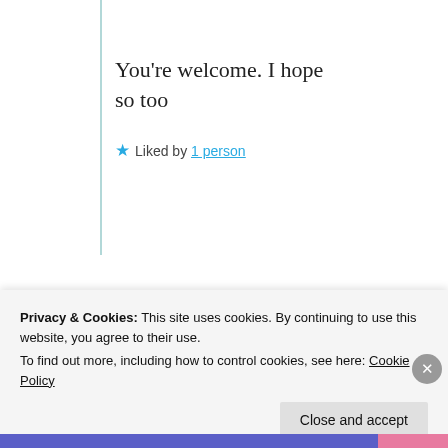You're welcome. I hope so too
★ Liked by 1 person
Advertisements
[Figure (illustration): Day One journaling app advertisement banner with blue background, showing illustrated icons of notebooks and a person holding a phone, with text 'DAY ONE' and 'The only journaling']
Privacy & Cookies: This site uses cookies. By continuing to use this website, you agree to their use. To find out more, including how to control cookies, see here: Cookie Policy
Close and accept